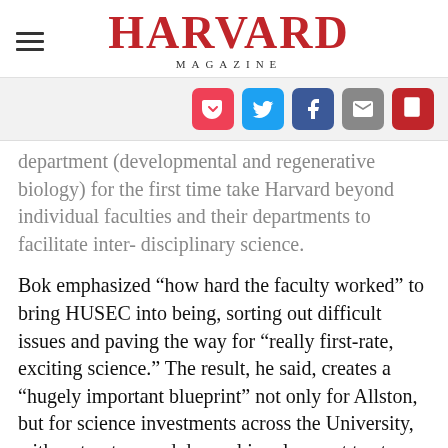HARVARD MAGAZINE
[Figure (infographic): Social sharing icons: Pocket, Twitter, Facebook, Email, PDF]
department (developmental and regenerative biology) for the first time take Harvard beyond individual faculties and their departments to facilitate inter- disciplinary science.
Bok emphasized “how hard the faculty worked” to bring HUSEC into being, sorting out difficult issues and paving the way for “really first-rate, exciting science.” The result, he said, creates a “hugely important blueprint” not only for Allston, but for science investments across the University, with a structure and decanal involvement to steer